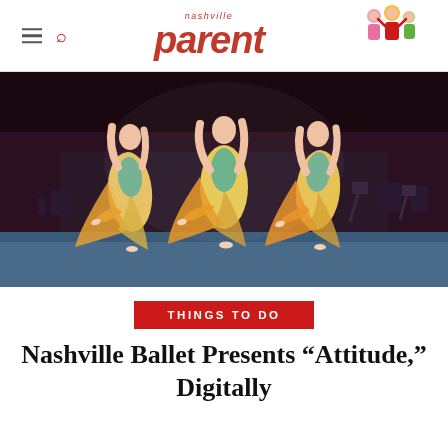nashville parent
[Figure (photo): Three ballet dancers performing on stage in colorful yellow-green-orange flowing costumes, striking identical arabesque poses with arms raised, on a dark stage with orchestra musicians visible in the background.]
THINGS TO DO
Nashville Ballet Presents “Attitude,” Digitally